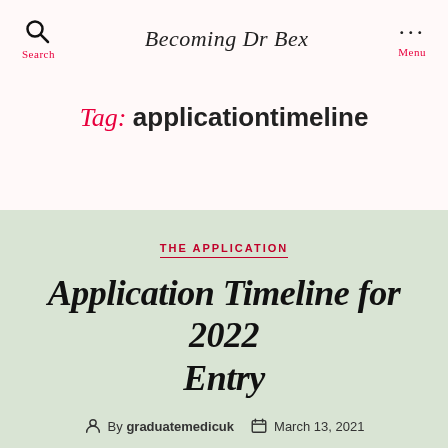Becoming Dr Bex
Tag: applicationtimeline
THE APPLICATION
Application Timeline for 2022 Entry
By graduatemedicuk  March 13, 2021  No Comments